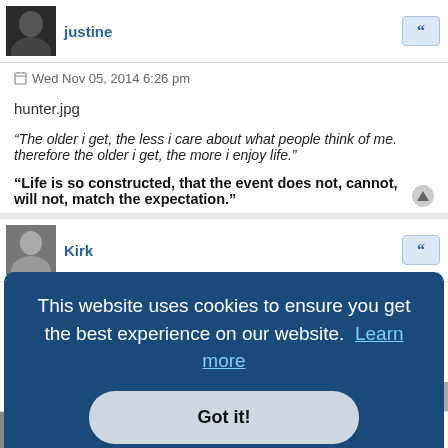justine
Wed Nov 05, 2014 6:26 pm
hunter.jpg
"The older i get, the less i care about what people think of me. therefore the older i get, the more i enjoy life."
"Life is so constructed, that the event does not, cannot, will not, match the expectation."
Kirk
This website uses cookies to ensure you get the best experience on our website. Learn more
Got it!